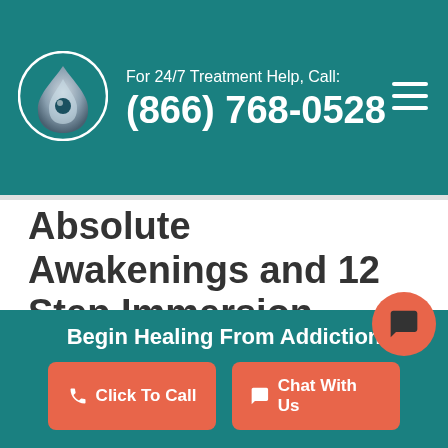For 24/7 Treatment Help, Call: (866) 768-0528
Absolute Awakenings and 12 Step Immersion
At Absolute Awakenings Treatment Center, we believe strongly in the importance of the 12 step program as an essential part of comprehensive recovery. We have seen our clients benefit immensely from the program as a whole, and learn invaluable lessons from the 8th step. If you or someone close to you has been suffering at the hands of substa...
Begin Healing From Addiction | Click To Call | Chat With Us